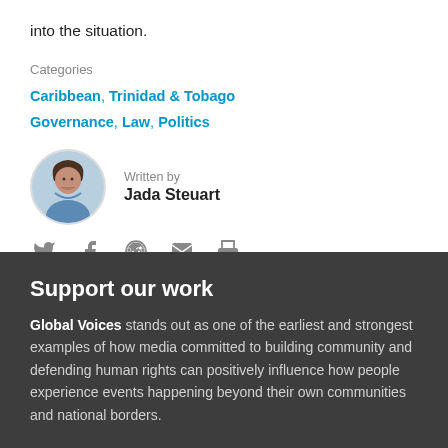into the situation.
Categories
Caribbean, Trinidad & Tobago
Governance, Law, Politics
Written by
Jada Steuart
[Figure (infographic): Social sharing icons: Twitter, Facebook, Reddit, Email, Print]
Support our work
Global Voices stands out as one of the earliest and strongest examples of how media committed to building community and defending human rights can positively influence how people experience events happening beyond their own communities and national borders.